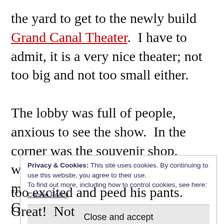the yard to get to the newly build Grand Canal Theater.  I have to admit, it is a very nice theater; not too big and not too small either.

The lobby was full of people, anxious to see the show.  In the corner was the souvenir shop, where you could buy T-shirts, mugs, posters and the soundtrack.  Great that a movie can make such an impact on people that you desperately
Privacy & Cookies: This site uses cookies. By continuing to use this website, you agree to their use.
To find out more, including how to control cookies, see here: Cookie Policy
Close and accept
too excited and peed his pants.  Great!  Not